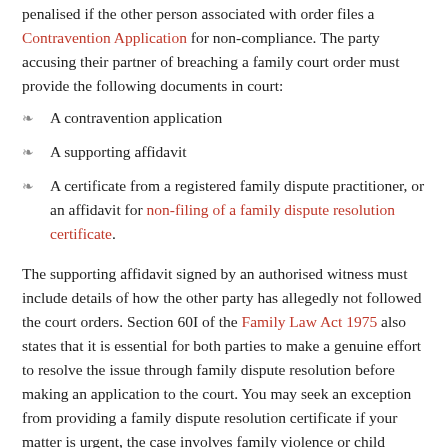penalised if the other person associated with order files a Contravention Application for non-compliance. The party accusing their partner of breaching a family court order must provide the following documents in court:
A contravention application
A supporting affidavit
A certificate from a registered family dispute practitioner, or an affidavit for non-filing of a family dispute resolution certificate.
The supporting affidavit signed by an authorised witness must include details of how the other party has allegedly not followed the court orders. Section 60I of the Family Law Act 1975 also states that it is essential for both parties to make a genuine effort to resolve the issue through family dispute resolution before making an application to the court. You may seek an exception from providing a family dispute resolution certificate if your matter is urgent, the case involves family violence or child abuse, or the risk of family violence or child